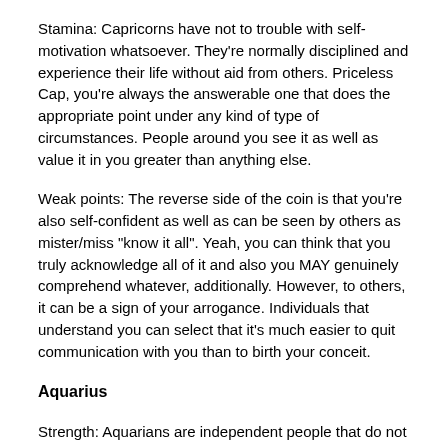Stamina: Capricorns have not to trouble with self-motivation whatsoever. They're normally disciplined and experience their life without aid from others. Priceless Cap, you're always the answerable one that does the appropriate point under any kind of type of circumstances. People around you see it as well as value it in you greater than anything else.
Weak points: The reverse side of the coin is that you're also self-confident as well as can be seen by others as mister/miss "know it all". Yeah, you can think that you truly acknowledge all of it and also you MAY genuinely comprehend whatever, additionally. However, to others, it can be a sign of your arrogance. Individuals that understand you can select that it's much easier to quit communication with you than to birth your conceit.
Aquarius
Strength: Aquarians are independent people that do not in fact require any type of individual to rejoice. They can look after themselves, in addition, to do not need the assistance of any kind of private else. The concepts you produce are motivating and also uncommon in addition to other people typically observe it and also praise you for it.